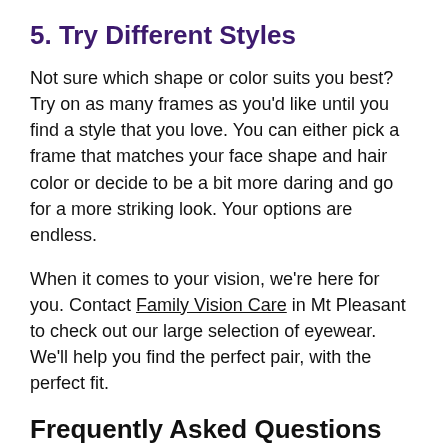5. Try Different Styles
Not sure which shape or color suits you best? Try on as many frames as you'd like until you find a style that you love. You can either pick a frame that matches your face shape and hair color or decide to be a bit more daring and go for a more striking look. Your options are endless.
When it comes to your vision, we're here for you. Contact Family Vision Care in Mt Pleasant to check out our large selection of eyewear. We'll help you find the perfect pair, with the perfect fit.
Frequently Asked Questions
Q: Are metal frames strong enough for sports?